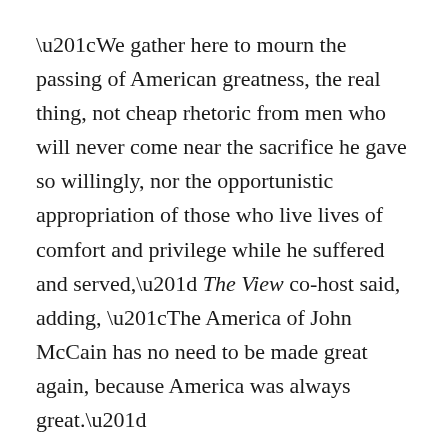“We gather here to mourn the passing of American greatness, the real thing, not cheap rhetoric from men who will never come near the sacrifice he gave so willingly, nor the opportunistic appropriation of those who live lives of comfort and privilege while he suffered and served,” The View co-host said, adding, “The America of John McCain has no need to be made great again, because America was always great.”
Her remarks were met with a warm and loud response by the bipartisan crowd, but evidently wasn’t received well by the president. While Trump wasn’t in attendance at the funeral as McCain made it known